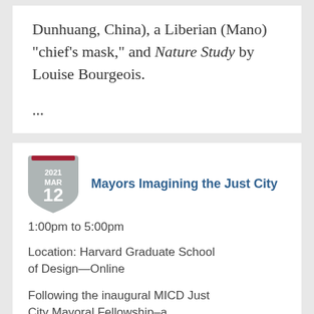Dunhuang, China), a Liberian (Mano) "chief's mask," and Nature Study by Louise Bourgeois.
...
[Figure (other): Calendar badge shield shape showing 2021 MAR 12]
Mayors Imagining the Just City
1:00pm to 5:00pm
Location: Harvard Graduate School of Design—Online
Following the inaugural MICD Just City Mayoral Fellowship–a